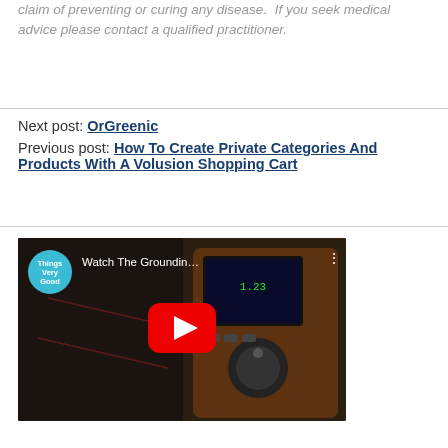claim of preventing or curing any disease.  If you seek medical advice please contact a qualified practitioner.
Next post: OrGreenic
Previous post: How To Create Private Categories And Products With A Volusion Shopping Cart
[Figure (screenshot): YouTube video thumbnail showing 'Watch The Groundin...' with a Things Very Good channel bubble, red play button, and a device/multimeter in background]